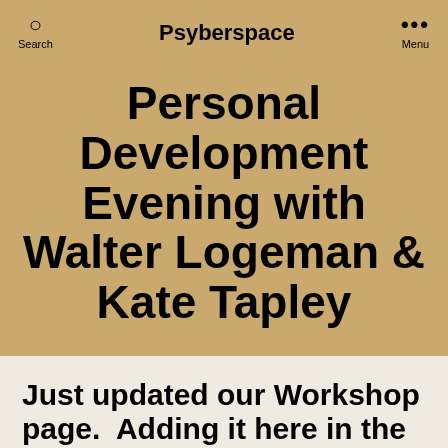Search  Psyberspace  Menu
Personal Development Evening with Walter Logeman & Kate Tapley
Just updated our Workshop page.  Adding it here in the mainstream!
Weekly on a Thursday 6:30 to 9:00